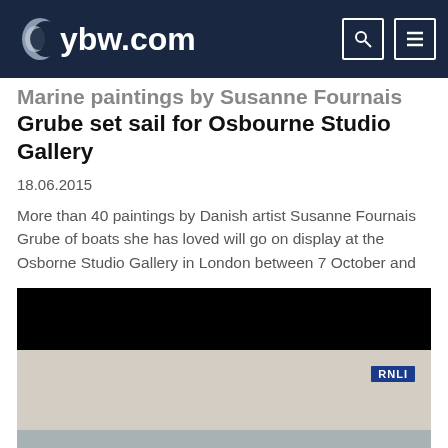ybw.com
Marine paintings by Susanne Fournais Grube set sail for Osbourne Studio Gallery
18.06.2015
More than 40 paintings by Danish artist Susanne Fournais Grube of boats she has loved will go on display at the Osborne Studio Gallery in London between 7 October and
[Figure (photo): Video still or photo showing a marine scene with RNLI branding, a dark buoy or sphere-shaped object in the foreground, equipment, and a grey sea horizon under an overcast sky. A black bar appears at the top of the video frame.]